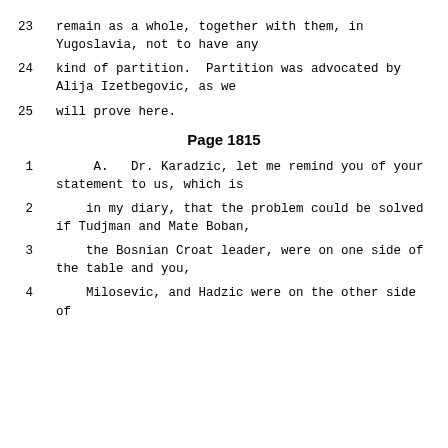23     remain as a whole, together with them, in Yugoslavia, not to have any
24     kind of partition.  Partition was advocated by Alija Izetbegovic, as we
25     will prove here.
Page 1815
1        A.   Dr. Karadzic, let me remind you of your statement to us, which is
2      in my diary, that the problem could be solved if Tudjman and Mate Boban,
3      the Bosnian Croat leader, were on one side of the table and you,
4      Milosevic, and Hadzic were on the other side of